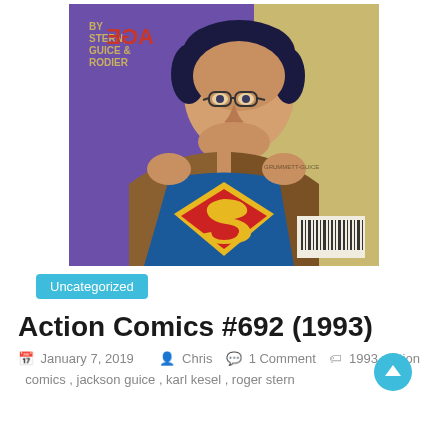[Figure (illustration): Comic book cover of Action Comics #692 (1993) showing Clark Kent ripping open his shirt to reveal the Superman costume underneath. Text on cover reads 'BY STERN, GUICE & RODIER'. A barcode is visible at bottom right.]
Uncategorized
Action Comics #692 (1993)
January 7, 2019  Chris  1 Comment  1993, action comics, jackson guice, karl kesel, roger stern